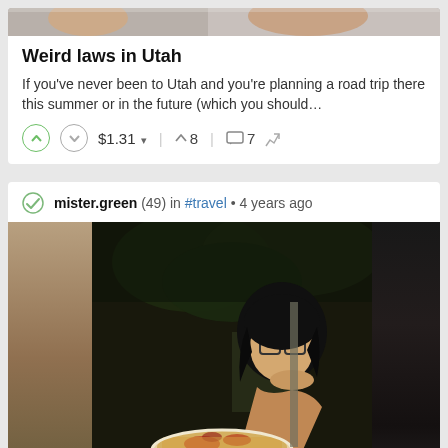[Figure (photo): Top portion of a photo partially visible at the very top of page — cropped faces]
Weird laws in Utah
If you've never been to Utah and you're planning a road trip there this summer or in the future (which you should...
↑ ↓ $1.31 ▾ ↑ 8 💬 7 ↩
mister.green (49) in #travel • 4 years ago
[Figure (photo): Photo of a person with glasses and dark hair looking at food on a plate, outdoor night setting]